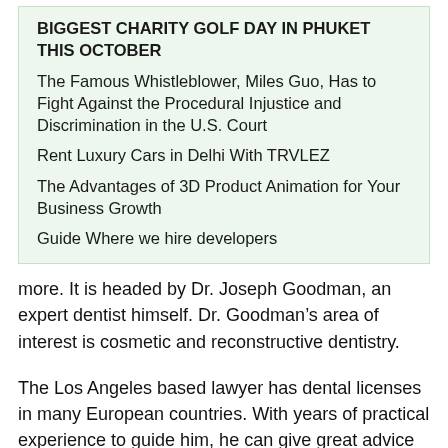BIGGEST CHARITY GOLF DAY IN PHUKET THIS OCTOBER
The Famous Whistleblower, Miles Guo, Has to Fight Against the Procedural Injustice and Discrimination in the U.S. Court
Rent Luxury Cars in Delhi With TRVLEZ
The Advantages of 3D Product Animation for Your Business Growth
Guide Where we hire developers
more. It is headed by Dr. Joseph Goodman, an expert dentist himself. Dr. Goodman’s area of interest is cosmetic and reconstructive dentistry.
The Los Angeles based lawyer has dental licenses in many European countries. With years of practical experience to guide him, he can give great advice about